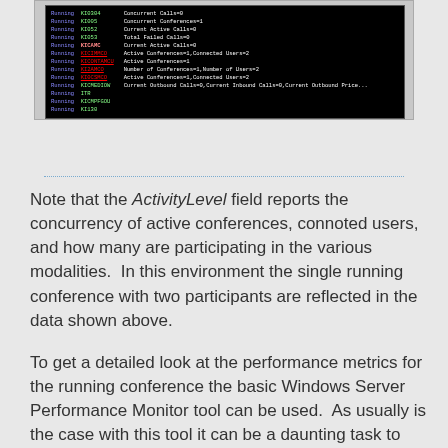[Figure (screenshot): Terminal/console screenshot showing running processes and their status lines with fields like Concurrent Calls, Current Active Calls, Active Conferences, Connected Users, Number of Conferences, Number of Users, Current Outbound Calls, Current Inbound Calls, Current Outbound Price, etc. Black background with white and colored text.]
Note that the ActivityLevel field reports the concurrency of active conferences, connoted users, and how many are participating in the various modalities.  In this environment the single running conference with two participants are reflected in the data shown above.
To get a detailed look at the performance metrics for the running conference the basic Windows Server Performance Monitor tool can be used.  As usually is the case with this tool it can be a daunting task to identify what counters to view, so here is an easy way to list all, or a subset, of the sets related to Skype for Business Server...